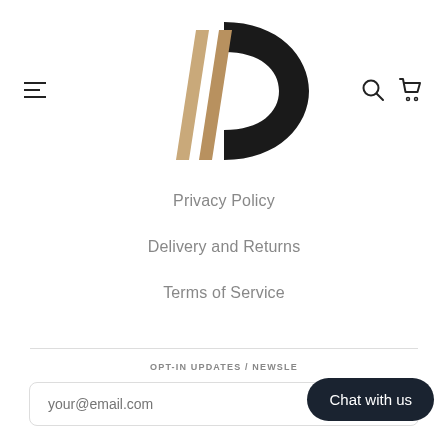[Figure (logo): Stylized logo: tan/kraft colored angular shape (like open book pages) paired with a large black letter D shape, forming a combined brand mark]
Privacy Policy
Delivery and Returns
Terms of Service
OPT-IN UPDATES / NEWSLE...
your@email.com
Chat with us